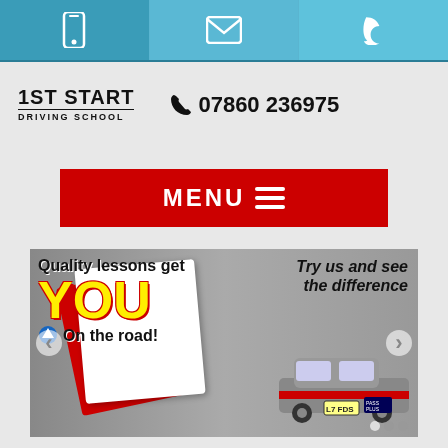[Figure (screenshot): Top navigation bar with phone, email, and Twitter icons on teal/blue background]
[Figure (logo): 1st Start Driving School logo with phone number 07860 236975]
[Figure (screenshot): Red MENU bar with hamburger icon]
[Figure (photo): Promotional banner showing L-plate, text 'Quality lessons get YOU On the road!' and 'Try us and see the difference' with driving school car]